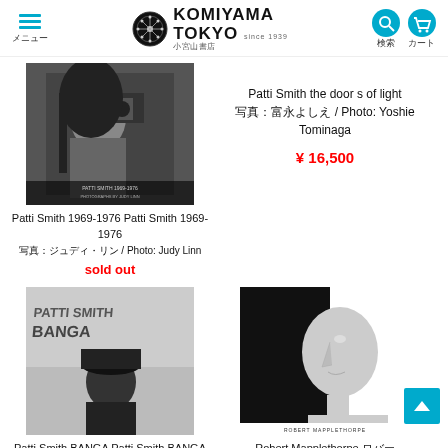KOMIYAMA TOKYO since 1939 小宮山書店
[Figure (photo): Black and white photo of Patti Smith holding a camera, book cover]
Patti Smith 1969-1976 Patti Smith 1969-1976
写真：ジュディ・リン / Photo: Judy Linn
sold out
[Figure (photo): Black and white photo of a woman in front of graffiti wall with PATTI SMITH BANGA text, book cover]
Patti Smith the door s of light
写真：富永よしえ / Photo: Yoshie Tominaga
¥ 16,500
[Figure (photo): Black and white profile photo of a classical sculpture face, Robert Mapplethorpe book cover]
Patti Smith BANGA Patti Smith BANGA
Robert Mapplethorpe ロバー